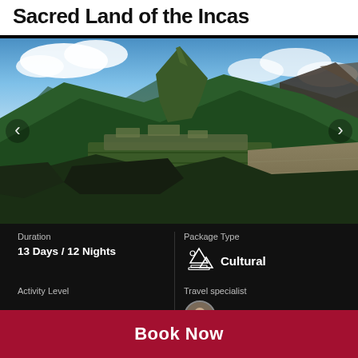Sacred Land of the Incas
[Figure (photo): Panoramic aerial view of Machu Picchu with Huayna Picchu mountain in the background, green terraces, clouds, and Andean mountains]
Duration
13 Days / 12 Nights
Package Type
Cultural
Travel specialist
Activity Level
Vivian
Book Now